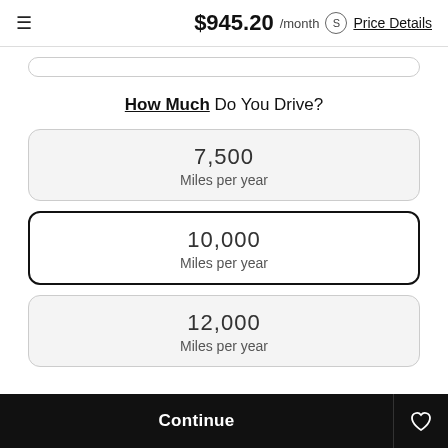$945.20 /month Price Details
How Much Do You Drive?
7,500
Miles per year
10,000
Miles per year
12,000
Miles per year
Continue